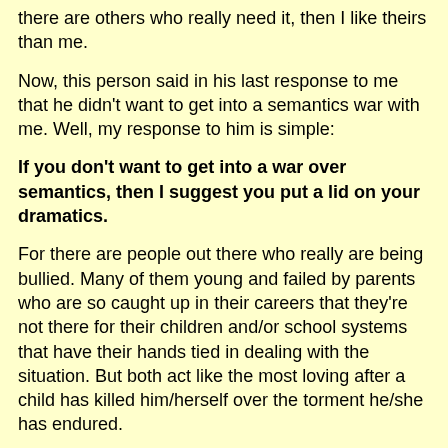there are others who really need it, then I like theirs than me.
Now, this person said in his last response to me that he didn't want to get into a semantics war with me. Well, my response to him is simple:
If you don't want to get into a war over semantics, then I suggest you put a lid on your dramatics.
For there are people out there who really are being bullied. Many of them young and failed by parents who are so caught up in their careers that they're not there for their children and/or school systems that have their hands tied in dealing with the situation. But both act like the most loving after a child has killed him/herself over the torment he/she has endured.
This person accusing me of bullying that guy, needs to learn some individuality, therefore stop jumping on the gay activists bandwagon, and get his facts straight on what bullying is. For I have an equation for him and everyone else in doubt of what defines as an act of bullying. The equation